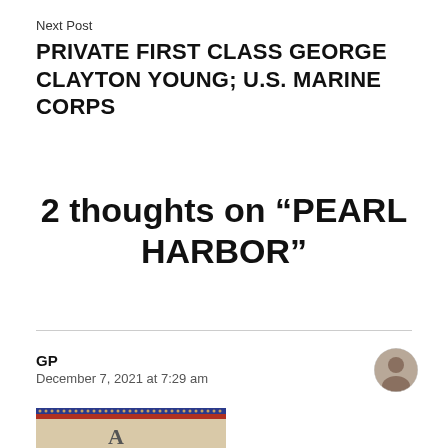Next Post
PRIVATE FIRST CLASS GEORGE CLAYTON YOUNG; U.S. MARINE CORPS
2 thoughts on “PEARL HARBOR”
GP
December 7, 2021 at 7:29 am
[Figure (photo): Small circular avatar portrait of a person, and a partial thumbnail image at the bottom showing a decorative banner with dots and stripes and a letter A]